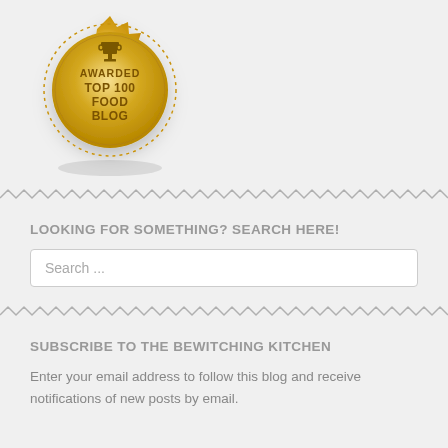[Figure (illustration): Gold award badge/seal with trophy icon at top, text reading AWARDED TOP 100 FOOD BLOG in dark gold/brown letters on a gold metallic circular seal with decorative scalloped edges and dotted border ring]
LOOKING FOR SOMETHING? SEARCH HERE!
Search ...
SUBSCRIBE TO THE BEWITCHING KITCHEN
Enter your email address to follow this blog and receive notifications of new posts by email.